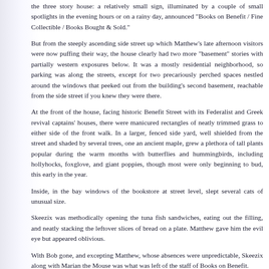the three story house: a relatively small sign, illuminated by a couple of small spotlights in the evening hours or on a rainy day, announced "Books on Benefit / Fine Collectible / Books Bought & Sold."
But from the steeply ascending side street up which Matthew's late afternoon visitors were now puffing their way, the house clearly had two more "basement" stories with partially western exposures below. It was a mostly residential neighborhood, so parking was along the streets, except for two precariously perched spaces nestled around the windows that peeked out from the building's second basement, reachable from the side street if you knew they were there.
At the front of the house, facing historic Benefit Street with its Federalist and Greek revival captains' houses, there were manicured rectangles of neatly trimmed grass to either side of the front walk. In a larger, fenced side yard, well shielded from the street and shaded by several trees, one an ancient maple, grew a plethora of tall plants popular during the warm months with butterflies and hummingbirds, including hollyhocks, foxglove, and giant poppies, though most were only beginning to bud, this early in the year.
Inside, in the bay windows of the bookstore at street level, slept several cats of unusual size.
Skeezix was methodically opening the tuna fish sandwiches, eating out the filling, and neatly stacking the leftover slices of bread on a plate. Matthew gave him the evil eye but appeared oblivious.
With Bob gone, and excepting Matthew, whose absences were unpredictable, Skeezix along with Marian the Mouse was what was left of the staff of Books on Benefit.